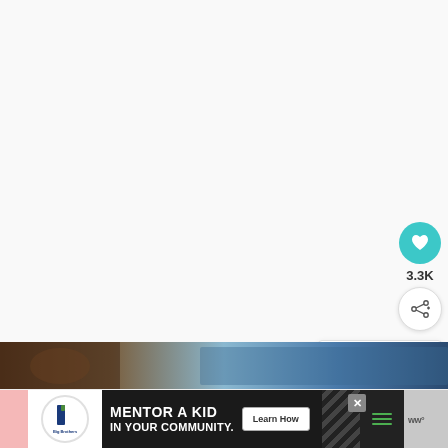[Figure (screenshot): Mostly white/blank main content area of a webpage]
[Figure (infographic): Heart (like) button circle in teal with heart icon, count 3.3K, and share button circle]
3.3K
[Figure (infographic): What's Next card showing thumbnail and text: WHAT'S NEXT → Paleo Extra Dark...]
[Figure (photo): Bottom photo strip with dark food/nature imagery]
[Figure (infographic): Advertisement banner: Big Brothers Big Sisters logo, MENTOR A KID IN YOUR COMMUNITY, Learn How button, decorative pattern, hamburger menu lines, brand icon]